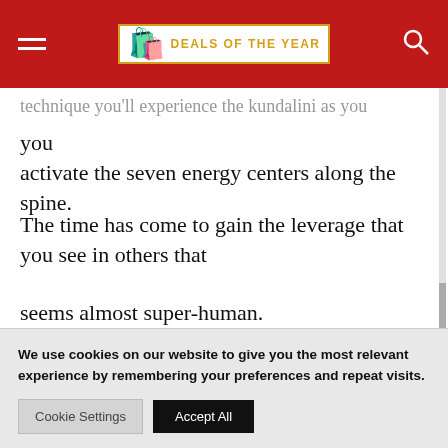DEALS OF THE YEAR
technique you'll experience the kundalini as you
activate the seven energy centers along the spine.
The time has come to gain the leverage that you see in others that seems almost super-human.
Remember, it's already residing within you, you just
We use cookies on our website to give you the most relevant experience by remembering your preferences and repeat visits.